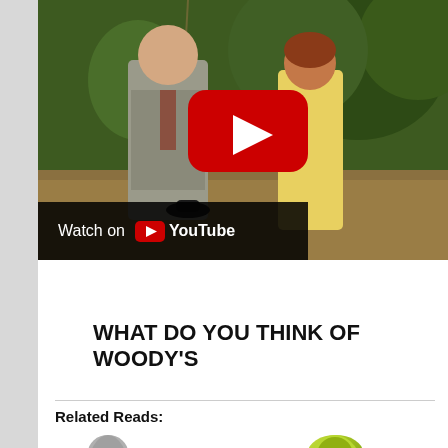[Figure (screenshot): YouTube video thumbnail showing two people (a man in a suit holding a hat and a woman in a yellow dress) in an outdoor garden setting. A large YouTube play button (red rounded rectangle with white triangle) is overlaid in the center. A black bar at the bottom left reads 'Watch on YouTube' with the YouTube logo.]
WHAT DO YOU THINK OF WOODY'S
Related Reads: